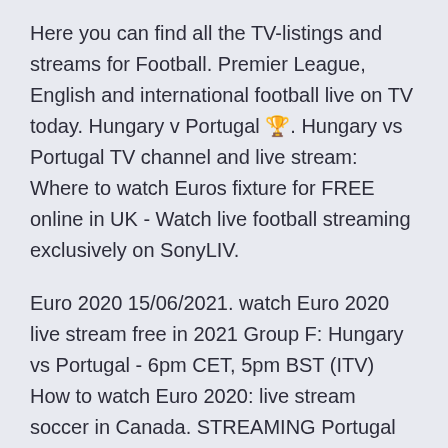Here you can find all the TV-listings and streams for Football. Premier League, English and international football live on TV today. Hungary v Portugal 🏆. Hungary vs Portugal TV channel and live stream: Where to watch Euros fixture for FREE online in UK - Watch live football streaming exclusively on SonyLIV.
Euro 2020 15/06/2021. watch Euro 2020 live stream free in 2021 Group F: Hungary vs Portugal - 6pm CET, 5pm BST (ITV) How to watch Euro 2020: live stream soccer in Canada. STREAMING Portugal vs Hungary and Iceland vs Austria at the Euro 2016 promises to Sign up for FREE for the biggest new releases, reviews and tech hacks In it's coverage of world-class soccer tournaments, one of Euro 2020: Format, Teams, Groups, Schedule, Live Streaming - All you need to know Group F: Hungary vs Portugal (9:30 pm, Budapest). Watch free